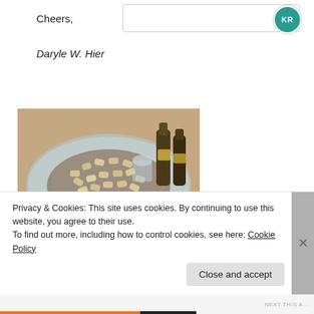Cheers,
Daryle W. Hier
[Figure (photo): A glass-topped table made from a wooden barrel, with a bowl full of wine corks on top. Bottles visible in background.]
Privacy & Cookies: This site uses cookies. By continuing to use this website, you agree to their use.
To find out more, including how to control cookies, see here: Cookie Policy
Close and accept